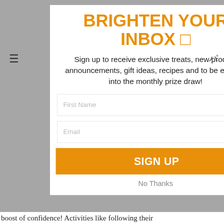BRIGHTEN YOUR INBOX 🌟
Sign up to receive exclusive treats, new product announcements, gift ideas, recipes and to be entered into the monthly prize draw!
First Name
Email
SIGN UP
No Thanks
boost of confidence! Activities like following their